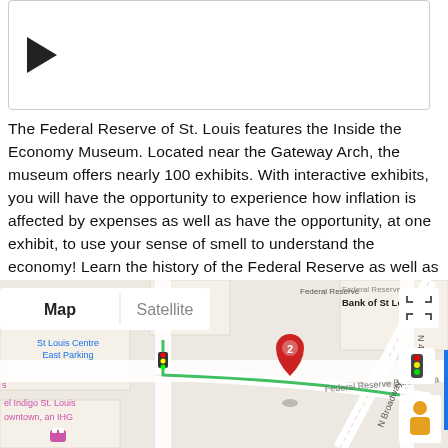[Figure (other): Video player placeholder with play button triangle]
The Federal Reserve of St. Louis features the Inside the Economy Museum. Located near the Gateway Arch, the museum offers nearly 100 exhibits. With interactive exhibits, you will have the opportunity to experience how inflation is affected by expenses as well as have the opportunity, at one exhibit, to use your sense of smell to understand the economy! Learn the history of the Federal Reserve as well as other interesting information such as the changing economy during the history of the United States when you visit this fascinating new museum.
[Figure (map): Google Maps screenshot showing the Federal Reserve Bank of St. Louis location with a red pin marker labeled 2, Map/Satellite toggle, surrounding streets including N Broadway and N 4th St, and nearby landmarks including St Louis Centre East Parking, Lawrence Group, and Quik Park Garage]